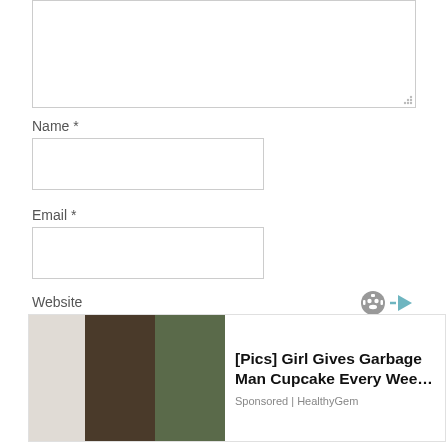[Figure (screenshot): Textarea input box (comment field), partially visible at top of page]
Name *
[Figure (screenshot): Name input field (empty text box)]
Email *
[Figure (screenshot): Email input field (empty text box)]
Website
[Figure (other): Ad banner: [Pics] Girl Gives Garbage Man Cupcake Every Wee… Sponsored | HealthyGem, with thumbnail images of people]